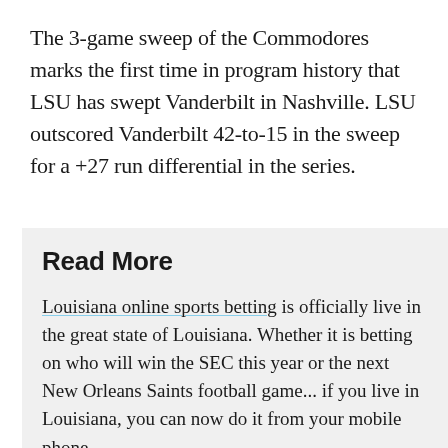The 3-game sweep of the Commodores marks the first time in program history that LSU has swept Vanderbilt in Nashville. LSU outscored Vanderbilt 42-to-15 in the sweep for a +27 run differential in the series.
Read More
Louisiana online sports betting is officially live in the great state of Louisiana. Whether it is betting on who will win the SEC this year or the next New Orleans Saints football game... if you live in Louisiana, you can now do it from your mobile phone.